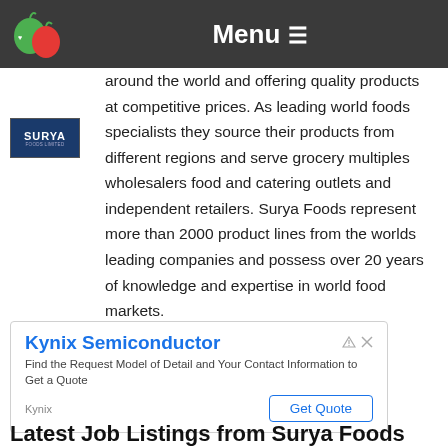Menu ☰
around the world and offering quality products at competitive prices. As leading world foods specialists they source their products from different regions and serve grocery multiples wholesalers food and catering outlets and independent retailers. Surya Foods represent more than 2000 product lines from the worlds leading companies and possess over 20 years of knowledge and expertise in world food markets.
[Figure (other): Surya Foods logo — dark blue rectangle with white SURYA text]
[Figure (other): Advertisement for Kynix Semiconductor — Find the Request Model of Detail and Your Contact Information to Get a Quote. Get Quote button.]
Latest Job Listings from Surya Foods
Sorry, Surya Foods doesn't currently have any vacancies